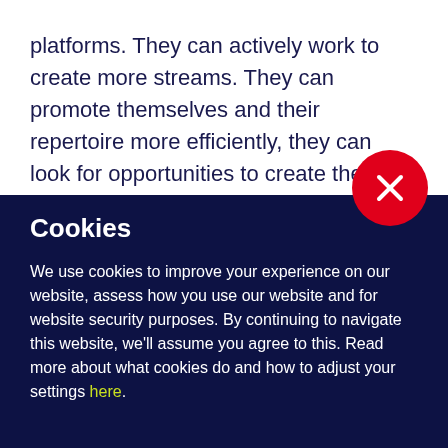platforms. They can actively work to create more streams. They can promote themselves and their repertoire more efficiently, they can look for opportunities to create their own playlists.
Cookies
We use cookies to improve your experience on our website, assess how you use our website and for website security purposes. By continuing to navigate this website, we'll assume you agree to this. Read more about what cookies do and how to adjust your settings here.